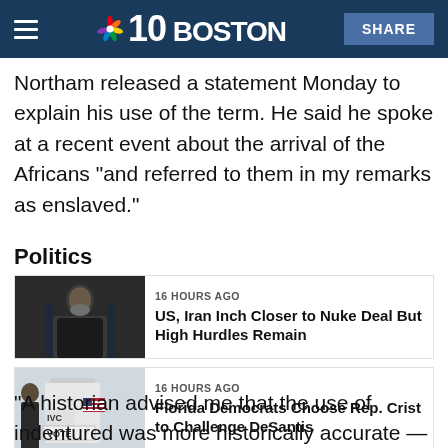NBC 10 BOSTON | SHARE
Northam released a statement Monday to explain his use of the term. He said he spoke at a recent event about the arrival of the Africans "and referred to them in my remarks as enslaved."
Politics
[Figure (photo): Photo of a man in dark clothing against a dark background]
16 HOURS AGO
US, Iran Inch Closer to Nuke Deal But High Hurdles Remain
[Figure (photo): Photo of a person at a voting booth with American flag and VOTE sign]
16 HOURS AGO
Florida Democrats Choose Rep. Crist to Challenge DeSantis
"A historian advised me that the use of indentured was more historically accurate — the fact is, I'm still learning and